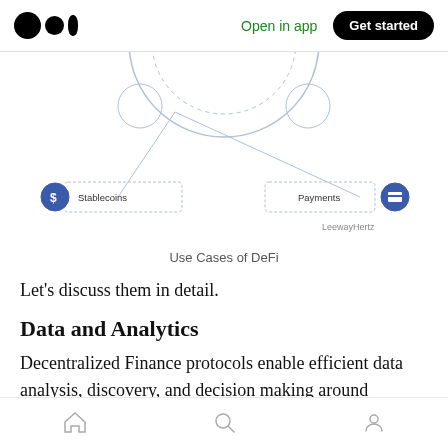Open in app  Get started
[Figure (infographic): Partial diagram showing Use Cases of DeFi — a mind-map style network diagram with a central circle connected to nodes including 'Payments' and 'Stablecoins'. LeewayHertz watermark visible in lower right of diagram.]
Use Cases of DeFi
Let's discuss them in detail.
Data and Analytics
Decentralized Finance protocols enable efficient data analysis, discovery, and decision making around finances and risk management. It is
Home  Search  Profile